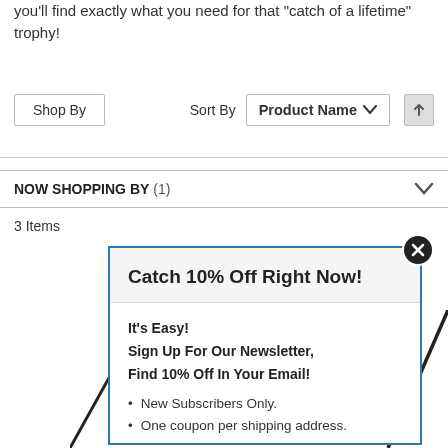you'll find exactly what you need for that "catch of a lifetime" trophy!
Shop By   Sort By   Product Name
NOW SHOPPING BY (1)
3 Items
[Figure (screenshot): Popup modal with blue border showing 'Catch 10% Off Right Now!' promotion with newsletter sign-up offer, including bullet points for 'New Subscribers Only.' and 'One coupon per shipping address.']